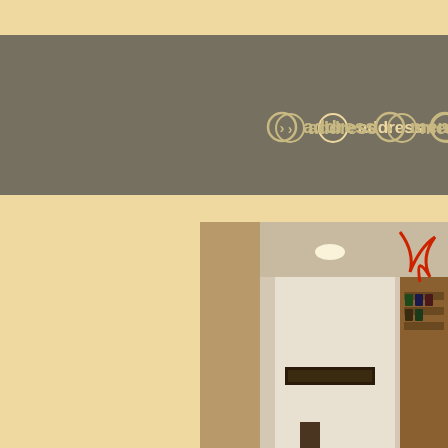address   menu   >
[Figure (photo): Interior photo of a modern cafe or bar with white walls, dark wood flooring, wine bottles on shelves, and a candle on the floor]
Curiously in whi... pleasant to you ... embankment on... as distance betw... 10 minutes of sh... prospekt